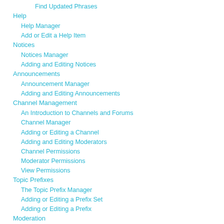Find Updated Phrases
Help
Help Manager
Add or Edit a Help Item
Notices
Notices Manager
Adding and Editing Notices
Announcements
Announcement Manager
Adding and Editing Announcements
Channel Management
An Introduction to Channels and Forums
Channel Manager
Adding or Editing a Channel
Adding and Editing Moderators
Channel Permissions
Moderator Permissions
View Permissions
Topic Prefixes
The Topic Prefix Manager
Adding or Editing a Prefix Set
Adding or Editing a Prefix
Moderation
Unsubscribe Topics
Strip Poll from Topic
Tags
Tagging Options
Attachments
An Introduction to Attachments
General Attachment Settings
Attachment Manager
Adding Attachment Types
Attachment Permissions
Managing Attachment Permissions
Attachment Storage Type
Users
User Moderation
Adding/Editing Users